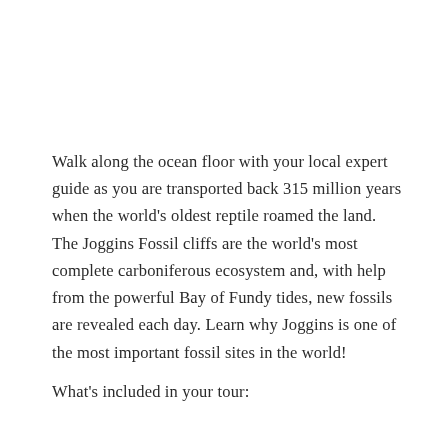Walk along the ocean floor with your local expert guide as you are transported back 315 million years when the world's oldest reptile roamed the land. The Joggins Fossil cliffs are the world's most complete carboniferous ecosystem and, with help from the powerful Bay of Fundy tides, new fossils are revealed each day. Learn why Joggins is one of the most important fossil sites in the world!
What's included in your tour: